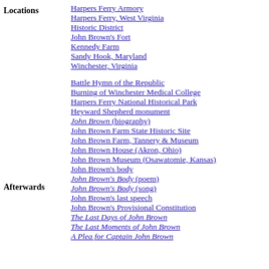Locations
Harpers Ferry Armory
Harpers Ferry, West Virginia
Historic District
John Brown's Fort
Kennedy Farm
Sandy Hook, Maryland
Winchester, Virginia
Afterwards
Battle Hymn of the Republic
Burning of Winchester Medical College
Harpers Ferry National Historical Park
Heyward Shepherd monument
John Brown (biography)
John Brown Farm State Historic Site
John Brown Farm, Tannery & Museum
John Brown House (Akron, Ohio)
John Brown Museum (Osawatomie, Kansas)
John Brown's body
John Brown's Body (poem)
John Brown's Body (song)
John Brown's last speech
John Brown's Provisional Constitution
The Last Days of John Brown
The Last Moments of John Brown
A Plea for Captain John Brown